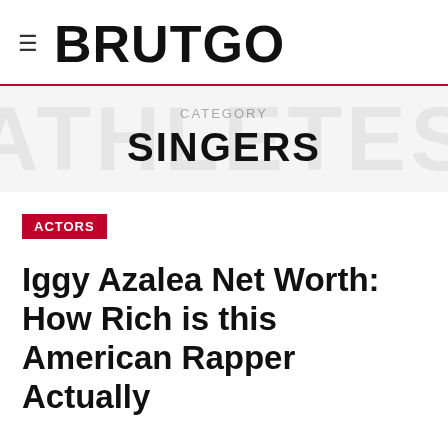≡ BRUTGO
CATEGORY
SINGERS
ACTORS
Iggy Azalea Net Worth: How Rich is this American Rapper Actually